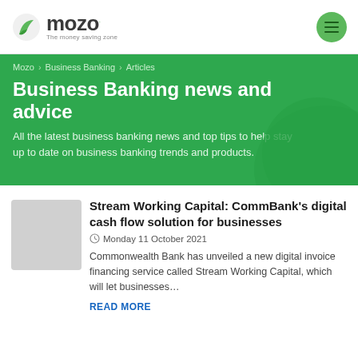mozo — The money saving zone
Mozo > Business Banking > Articles
Business Banking news and advice
All the latest business banking news and top tips to help stay up to date on business banking trends and products.
Stream Working Capital: CommBank’s digital cash flow solution for businesses
Monday 11 October 2021
Commonwealth Bank has unveiled a new digital invoice financing service called Stream Working Capital, which will let businesses…
READ MORE